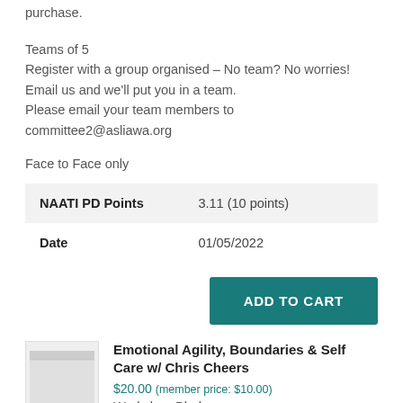purchase.
Teams of 5
Register with a group organised – No team? No worries! Email us and we'll put you in a team.
Please email your team members to committee2@asliawa.org
Face to Face only
|  |  |
| --- | --- |
| NAATI PD Points | 3.11 (10 points) |
| Date | 01/05/2022 |
ADD TO CART
[Figure (photo): Thumbnail image of workshop product]
Emotional Agility, Boundaries & Self Care w/ Chris Cheers
$20.00 (member price: $10.00)
Workshop Blurb: